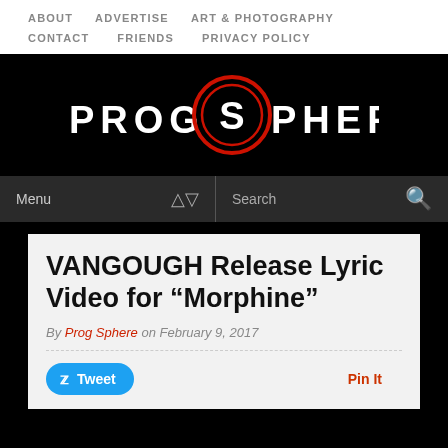ABOUT   ADVERTISE   ART & PHOTOGRAPHY   CONTACT   FRIENDS   PRIVACY POLICY
[Figure (logo): ProgSphere logo — white sans-serif text 'PROGSPHERE' with a stylized red circular S emblem in the center, on black background]
Menu   Search
VANGOUGH Release Lyric Video for “Morphine”
By Prog Sphere on February 9, 2017
Tweet   Pin It